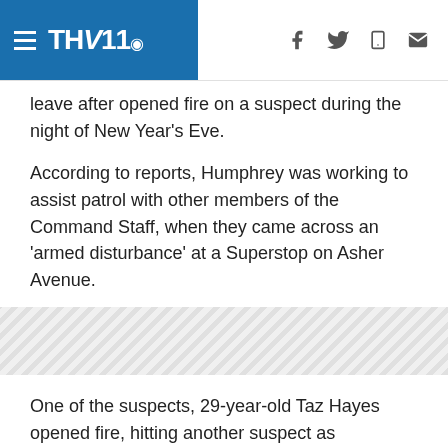THV11 (TV station logo with hamburger menu and social icons)
leave after opened fire on a suspect during the night of New Year's Eve.
According to reports, Humphrey was working to assist patrol with other members of the Command Staff, when they came across an 'armed disturbance' at a Superstop on Asher Avenue.
[Figure (other): Advertisement/ad strip placeholder with diagonal hatch pattern]
One of the suspects, 29-year-old Taz Hayes opened fire, hitting another suspect as Humphrey was exiting his vehicle to approach the scene.
Reports say that the suspect fled from the scene but was later apprehended and taken into custody.